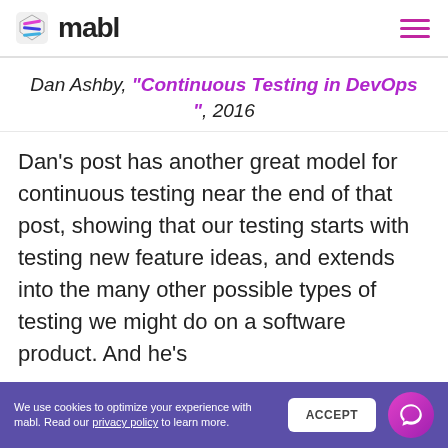mabl
Dan Ashby, "Continuous Testing in DevOps", 2016
Dan’s post has another great model for continuous testing near the end of that post, showing that our testing starts with testing new feature ideas, and extends into the many other possible types of testing we might do on a software product. And he’s
We use cookies to optimize your experience with mabl. Read our privacy policy to learn more.